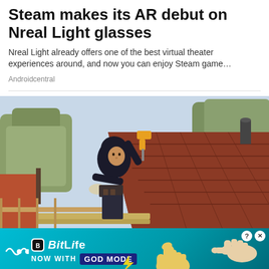Steam makes its AR debut on Nreal Light glasses
Nreal Light already offers one of the best virtual theater experiences around, and now you can enjoy Steam game…
Androidcentral
[Figure (photo): Person in black hoodie working on a roof gutter with a power drill, roof shingles visible in background with trees]
[Figure (infographic): BitLife advertisement banner: 'NOW WITH GOD MODE' with thumbs up and hands graphic, cyan/teal background]